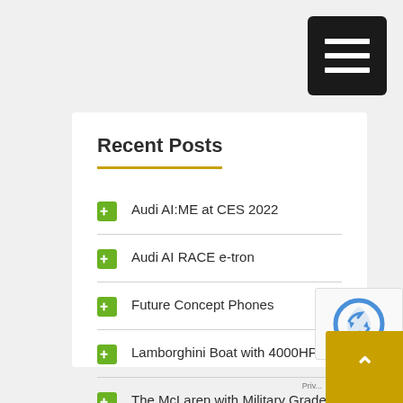[Figure (other): Black hamburger menu button with three white horizontal bars, positioned in the top-right corner]
Recent Posts
Audi AI:ME at CES 2022
Audi AI RACE e-tron
Future Concept Phones
Lamborghini Boat with 4000HP
The McLaren with Military Grade Superfabric!